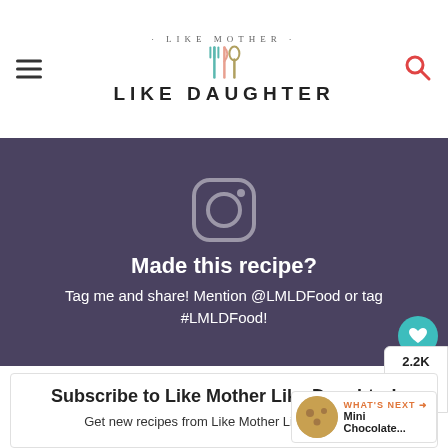LIKE MOTHER LIKE DAUGHTER
[Figure (screenshot): Instagram call-to-action banner with dark purple background, Instagram icon, bold text 'Made this recipe?' and 'Tag me and share! Mention @LMLDFood or tag #LMLDFood!']
Subscribe to Like Mother Like Daughter!
Get new recipes from Like Mother Like Daughter